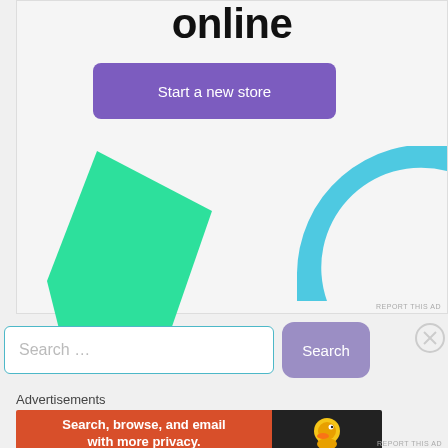online
[Figure (illustration): Purple 'Start a new store' button, green polygon shape and cyan arc shape on light grey background — part of an advertisement]
REPORT THIS AD
Search ...
Search
Advertisements
[Figure (illustration): DuckDuckGo advertisement banner: orange section with text 'Search, browse, and email with more privacy. All in One Free App' and dark section with DuckDuckGo duck logo and 'DuckDuckGo' text]
REPORT THIS AD